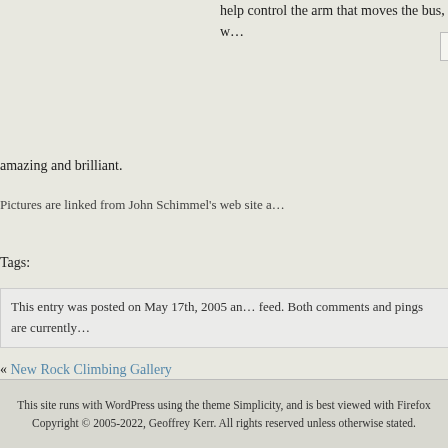help control the arm that moves the bus, w…
[Figure (photo): Coffee Table image placeholder with broken image icon]
Schimmel's art is some… into the physical pieces… amazing and brilliant.
Pictures are linked from John Schimmel's web site a…
Tags:
This entry was posted on May 17th, 2005 an… feed. Both comments and pings are currently…
« New Rock Climbing Gallery
Comments are closed.
This site runs with WordPress using the theme Simplicity, and is best viewed with Firefox
Copyright © 2005-2022, Geoffrey Kerr. All rights reserved unless otherwise stated.